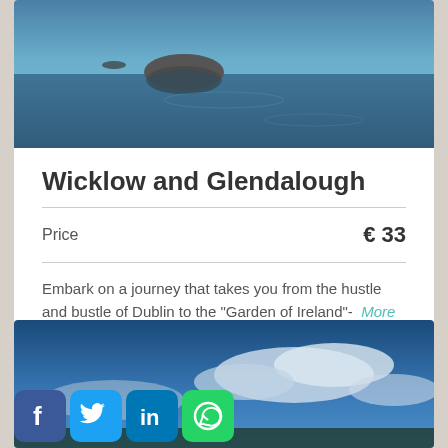[Figure (photo): Lake or river scene with a rock protruding from calm blue water reflecting sky and surroundings]
Wicklow and Glendalough
Price   € 33
Embark on a journey that takes you from the hustle and bustle of Dublin to the "Garden of Ireland"-  More info
[Figure (photo): Blue sky with white clouds landscape photo]
[Figure (other): Social media icons: Facebook, Twitter, LinkedIn, WhatsApp]